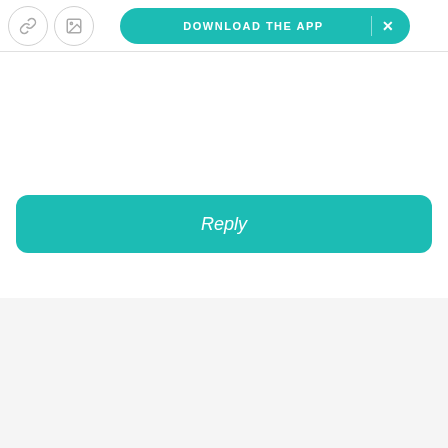[Figure (screenshot): App toolbar with link icon, image icon, and a teal pill-shaped 'DOWNLOAD THE APP' banner with X close button]
Reply
Related articles
[Figure (photo): Photo of modern office buildings with glass facades and green trees in the foreground]